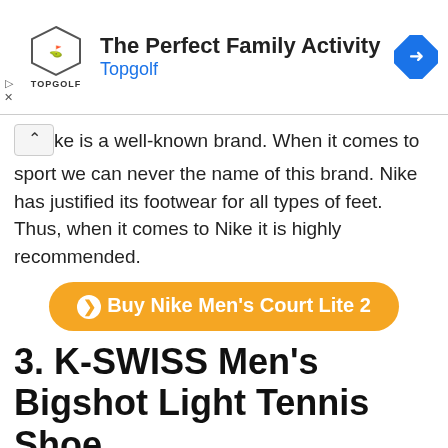[Figure (infographic): Topgolf advertisement banner with logo, 'The Perfect Family Activity' heading, 'Topgolf' subheading in blue, and a blue navigation diamond icon on the right.]
Nike is a well-known brand. When it comes to sport we can never the name of this brand. Nike has justified its footwear for all types of feet. Thus, when it comes to Nike it is highly recommended.
Buy Nike Men's Court Lite 2
3. K-SWISS Men's Bigshot Light Tennis Shoe
If you are looking for a combination of stability, comfort, and support then this brand great value. The k-swiss big shot is